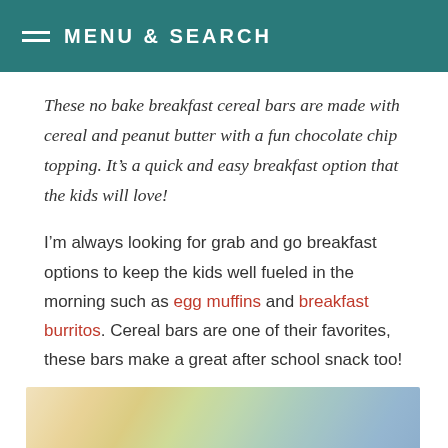MENU & SEARCH
These no bake breakfast cereal bars are made with cereal and peanut butter with a fun chocolate chip topping. It’s a quick and easy breakfast option that the kids will love!
I’m always looking for grab and go breakfast options to keep the kids well fueled in the morning such as egg muffins and breakfast burritos. Cereal bars are one of their favorites, these bars make a great after school snack too!
[Figure (photo): Close-up blurred photo of colorful breakfast cereal bars with chocolate chips on top]